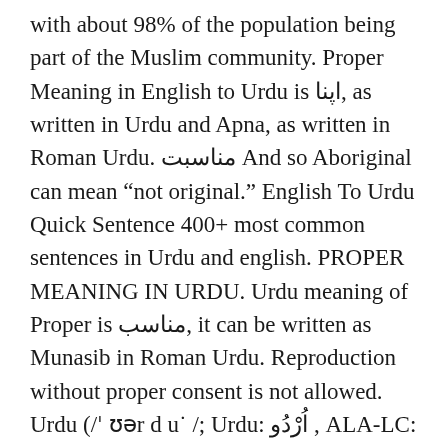with about 98% of the population being part of the Muslim community. Proper Meaning in English to Urdu is اپنا, as written in Urdu and Apna, as written in Roman Urdu. مناسبت And so Aboriginal can mean "not original." English To Urdu Quick Sentence 400+ most common sentences in Urdu and english. PROPER MEANING IN URDU. Urdu meaning of Proper is مناسب, it can be written as Munasib in Roman Urdu. Reproduction without proper consent is not allowed. Urdu (/ˈʊər d uː /; Urdu: اُردُو , ALA-LC: Urdū) is an Indo-Aryan language spoken chiefly in South Asia. Feb 05, 2021. Maqoliat معقولیت Meaning in English - Find the correct meaning of Maqoliat in English, it is important to understand the word properly